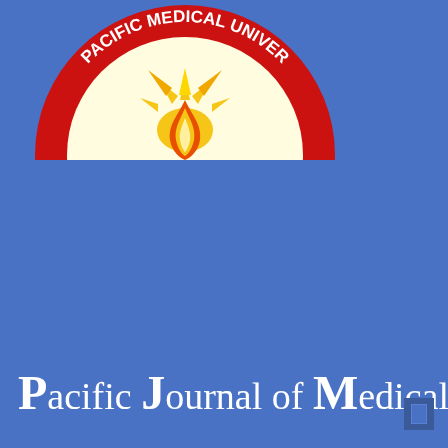[Figure (logo): Pacific Medical University logo: a semicircular red badge with white text 'PACIFIC MEDICAL UNIVER' around the arc, containing a cream/white semicircle background with a stylized sun/flame emblem in yellow, orange, and red at the center.]
Pacific Journal of Medical